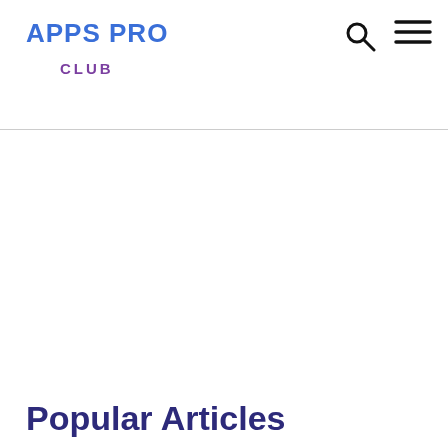APPS PRO CLUB
Popular Articles